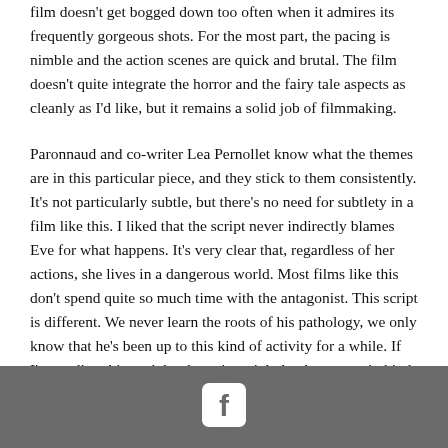film doesn't get bogged down too often when it admires its frequently gorgeous shots. For the most part, the pacing is nimble and the action scenes are quick and brutal. The film doesn't quite integrate the horror and the fairy tale aspects as cleanly as I'd like, but it remains a solid job of filmmaking.
Paronnaud and co-writer Lea Pernollet know what the themes are in this particular piece, and they stick to them consistently. It's not particularly subtle, but there's no need for subtlety in a film like this. I liked that the script never indirectly blames Eve for what happens. It's very clear that, regardless of her actions, she lives in a dangerous world. Most films like this don't spend quite so much time with the antagonist. This script is different. We never learn the roots of his pathology, we only know that he's been up to this kind of activity for a while. If I'm reading things right, the point might be that a certain kind of frightened masculinity hides behind violence and that it's always been that way.
[Figure (logo): Facebook logo icon centered in a dark gray footer bar]